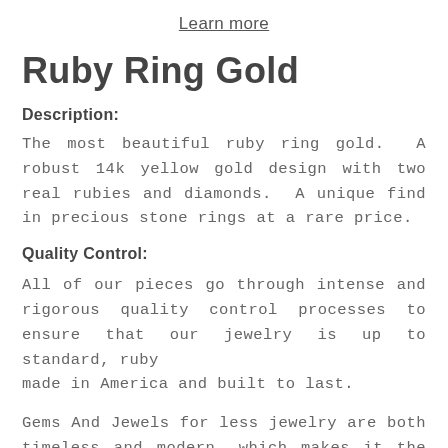Learn more
Ruby Ring Gold
Description:
The most beautiful ruby ring gold.  A robust 14k yellow gold design with two real rubies and diamonds.  A unique find in precious stone rings at a rare price.
Quality Control:
All of our pieces go through intense and rigorous quality control processes to ensure that our jewelry is up to standard, ruby
made in America and built to last.
Gems And Jewels for less jewelry are both timeless and modern, which makes it the perfect choice for all of the significant moments in your life. From proposals to anniversaries to